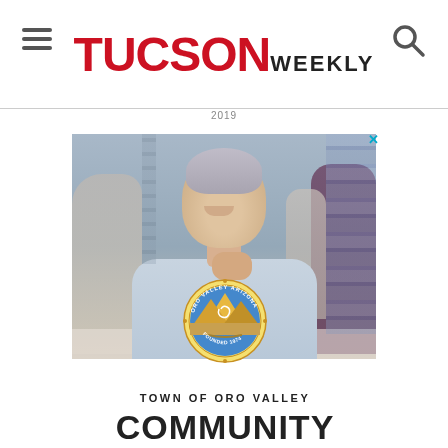TUCSON WEEKLY
2019
[Figure (photo): Advertisement for Town of Oro Valley Community featuring a smiling middle-aged woman with short gray hair sitting in front of bookshelves, with the Oro Valley Arizona seal (Founded 1974) overlaid on the image. Text reads 'TOWN OF ORO VALLEY' and 'COMMUNITY' at the bottom.]